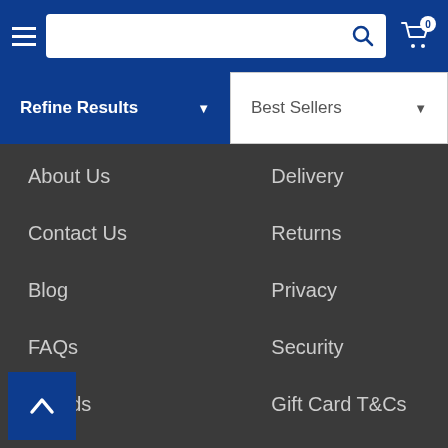Navigation header with hamburger menu, search bar, and cart icon (0 items)
Refine Results
Best Sellers
About Us
Delivery
Contact Us
Returns
Blog
Privacy
FAQs
Security
Brands
Gift Card T&Cs
On Sale
Promotion T&Cs
Gift Cards